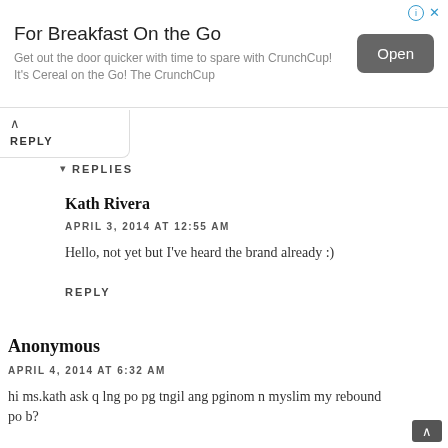[Figure (screenshot): Advertisement banner for CrunchCup breakfast product with title 'For Breakfast On the Go', body text, and an 'Open' button]
REPLY
REPLIES
Kath Rivera
APRIL 3, 2014 AT 12:55 AM
Hello, not yet but I've heard the brand already :)
REPLY
Anonymous
APRIL 4, 2014 AT 6:32 AM
hi ms.kath ask q lng po pg tngil ang pginom n myslim my rebound po b?